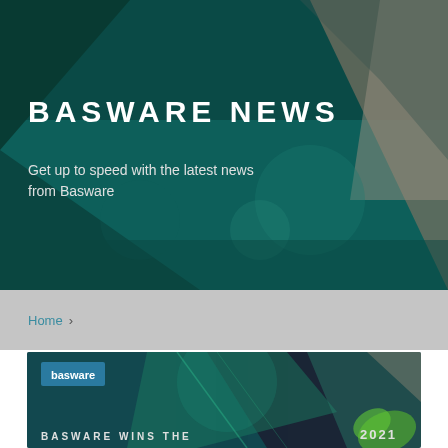[Figure (illustration): Hero banner with dark teal geometric background featuring overlapping angular shapes and soft bokeh light effects]
BASWARE NEWS
Get up to speed with the latest news from Basware
Home >
[Figure (illustration): Card image showing Basware logo with geometric teal/green angular shapes and text 'BASWARE WINS THE' and '2021' partially visible at the bottom]